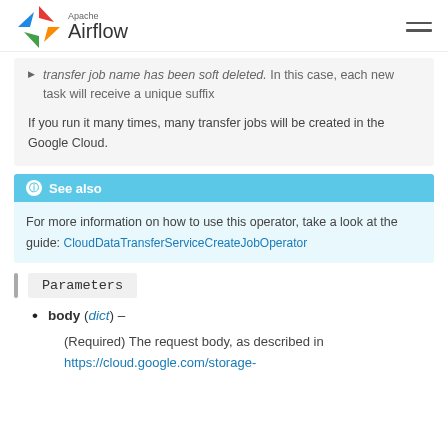Apache Airflow
transfer job name has been soft deleted. In this case, each new task will receive a unique suffix
If you run it many times, many transfer jobs will be created in the Google Cloud.
See also
For more information on how to use this operator, take a look at the guide: CloudDataTransferServiceCreateJobOperator
Parameters
body (dict) –
(Required) The request body, as described in https://cloud.google.com/storage-